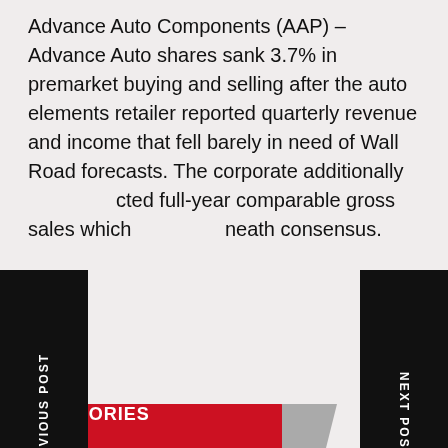Advance Auto Components (AAP) – Advance Auto shares sank 3.7% in premarket buying and selling after the auto elements retailer reported quarterly revenue and income that fell barely in need of Wall Road forecasts. The corporate additionally projected full-year comparable gross sales which beneath consensus.
ce link
Abercrombie & Fitch Co, Advance Auto Parts Inc, Apple Inc, Autozone Inc, Best Buy Co Inc, Breaking News: Markets, Broadcom Inc, Business News, Dexcom Inc, Earnings, Insulet Corp, Investment Strategy, Market Insider, Markets, Meta Platforms Inc, Petco Health And Wellness Company Inc, Pinterest Inc, Snap Inc, Twitter Inc, VMware Inc, Wall Street, Zoom Video Communications Inc
MORE STORIES